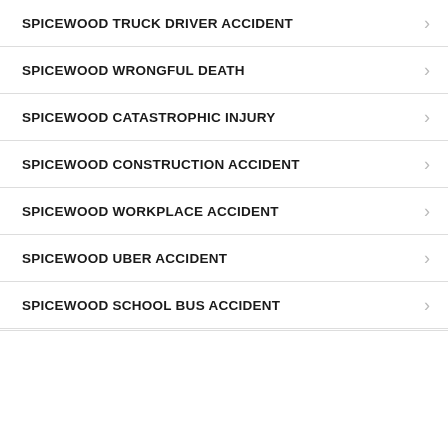SPICEWOOD TRUCK DRIVER ACCIDENT
SPICEWOOD WRONGFUL DEATH
SPICEWOOD CATASTROPHIC INJURY
SPICEWOOD CONSTRUCTION ACCIDENT
SPICEWOOD WORKPLACE ACCIDENT
SPICEWOOD UBER ACCIDENT
SPICEWOOD SCHOOL BUS ACCIDENT